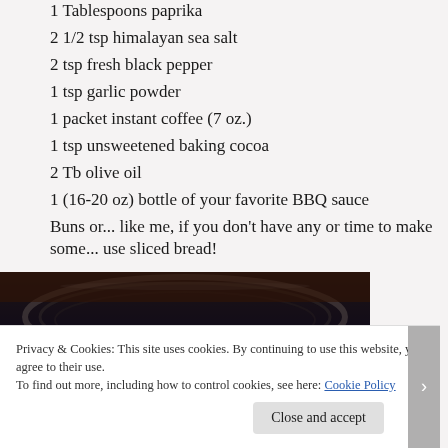1 Tablespoons paprika
2 1/2 tsp himalayan sea salt
2 tsp fresh black pepper
1 tsp garlic powder
1 packet instant coffee (7 oz.)
1 tsp unsweetened baking cocoa
2 Tb olive oil
1 (16-20 oz) bottle of your favorite BBQ sauce
Buns or... like me, if you don't have any or time to make some... use sliced bread!
[Figure (photo): Dark bowl or pot photographed from above, showing the rim and dark interior, partial view]
Privacy & Cookies: This site uses cookies. By continuing to use this website, you agree to their use.
To find out more, including how to control cookies, see here: Cookie Policy
Close and accept